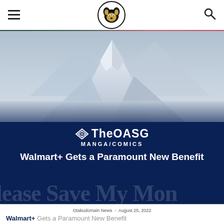Navigation bar with hamburger menu, TheOASG logo, and search icon
[Figure (photo): Snow-capped mountain peak against a hazy sky]
[Figure (logo): TheOASG logo with diamond/arrow icon and text 'TheOASG' above 'MANGA/COMICS' label]
Walmart+ Gets a Paramount New Benefit
Otakudomain News - August 25, 2022
Walmart+ Gets a Paramount New Benefit